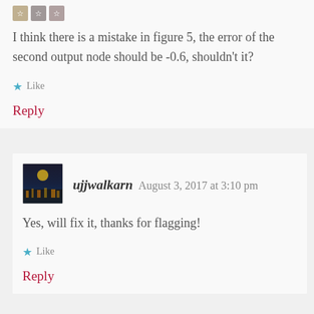[Figure (photo): Small avatar thumbnails at top of first comment (partially cropped)]
I think there is a mistake in figure 5, the error of the second output node should be -0.6, shouldn't it?
★ Like
Reply
[Figure (photo): Avatar photo of ujjwalkarn showing a night scene]
ujjwalkarn   August 3, 2017 at 3:10 pm
Yes, will fix it, thanks for flagging!
★ Like
Reply